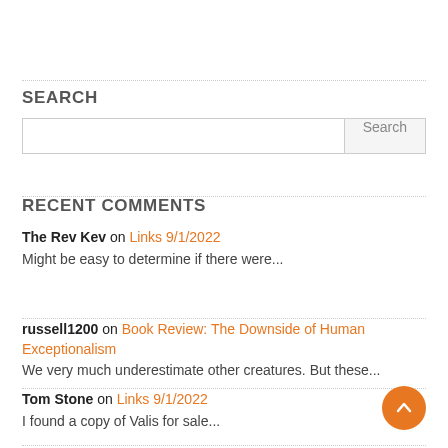SEARCH
Search input and button
RECENT COMMENTS
The Rev Kev on Links 9/1/2022
Might be easy to determine if there were...
russell1200 on Book Review: The Downside of Human Exceptionalism
We very much underestimate other creatures. But these...
Tom Stone on Links 9/1/2022
I found a copy of Valis for sale...